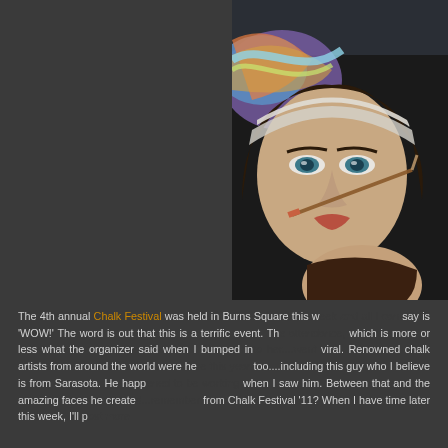[Figure (photo): Photograph of a large chalk mural on pavement showing detailed realistic faces of women/figures being created at the Chalk Festival. A paintbrush is visible being applied to one of the faces.]
The 4th annual Chalk Festival was held in Burns Square this w... say is 'WOW!' The word is out that this is a terrific event. Th... which is more or less what the organizer said when I bumped in... viral. Renowned chalk artists from around the world were he... too....including this guy who I believe is from Sarasota. He happ... when I saw him. Between that and the amazing faces he create... from Chalk Festival '11? When I have time later this week, I'll p...